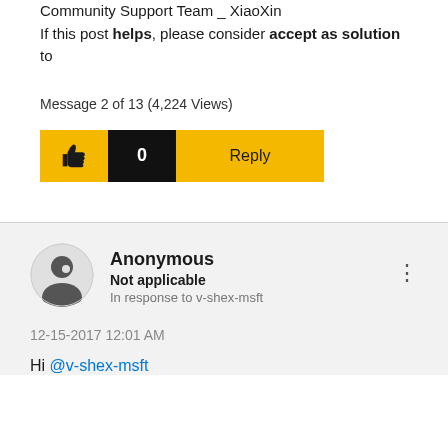Community Support Team _ XiaoXin
If this post helps, please consider accept as solution to
Message 2 of 13 (4,224 Views)
[Figure (screenshot): Action bar with thumbs up like button (yellow), like count 0 (black background), and Reply button (yellow)]
[Figure (screenshot): Anonymous user avatar - grey circle with masked figure icon]
Anonymous
Not applicable
In response to v-shex-msft
12-15-2017 12:01 AM
Hi @v-shex-msft